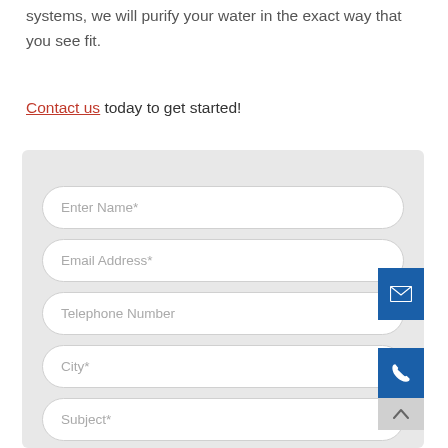systems, we will purify your water in the exact way that you see fit.
Contact us today to get started!
[Figure (screenshot): A contact form with fields: Enter Name*, Email Address*, Telephone Number, City*, Subject*. Two blue sidebar buttons with email and phone icons. A scroll-up arrow button.]